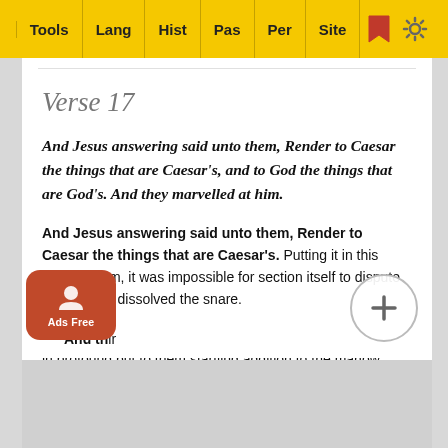Tools | Lang | Hist | Pas | Per | Site
Verse 17
And Jesus answering said unto them, Render to Caesar the things that are Caesar's, and to God the things that are God's. And they marvelled at him.
And Jesus answering said unto them, Render to Caesar the things that are Caesar's. Putting it in this general form, it was impossible for section itself to dispute it, and yet it dissolved the snare.
And to God the things that are God's. How much is there in profound but to them startling addition to the ma... how incomparable is the whole for fullness, brevity, clearness, weight!
And th... ir